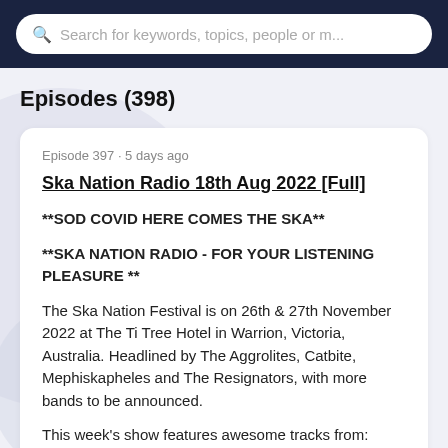Search for keywords, topics, people or m...
Episodes (398)
Episode 397 · 5 days ago
Ska Nation Radio 18th Aug 2022 [Full]
**SOD COVID HERE COMES THE SKA**

**SKA NATION RADIO - FOR YOUR LISTENING PLEASURE **

The Ska Nation Festival is on 26th & 27th November 2022 at The Ti Tree Hotel in Warrion, Victoria, Australia. Headlined by The Aggrolites, Catbite, Mephiskapheles and The Resignators, with more bands to be announced.

This week's show features awesome tracks from: